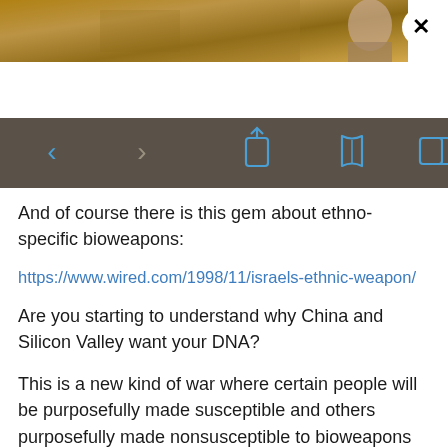[Figure (photo): Partial screenshot of a web page header image with a brownish/newspaper-like background and a partial face visible at right edge. A circular close (X) button is in the upper right corner.]
[Figure (screenshot): Mobile browser toolbar with dark brown/gray background showing navigation icons: back arrow, forward arrow, share icon, book/reader icon, and tabs icon, all in blue.]
And of course there is this gem about ethno-specific bioweapons:
https://www.wired.com/1998/11/israels-ethnic-weapon/
Are you starting to understand why China and Silicon Valley want your DNA?
This is a new kind of war where certain people will be purposefully made susceptible and others purposefully made nonsusceptible to bioweapons released on a